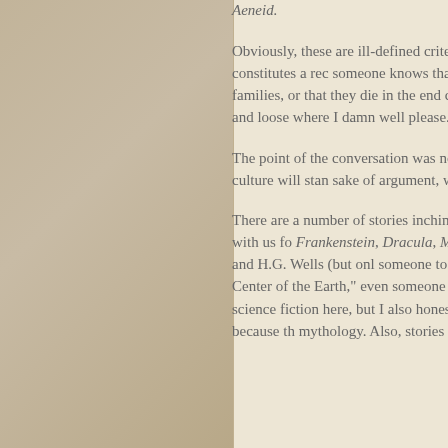Aeneid.
Obviously, these are ill-defined criteria. How could we recognize, or even define what constitutes a rec... someone knows that Romeo and Juliet are lovers? Wo... two come from rival families, or that they die in the end... conversation that took place over a couple of beers at a... play fast and loose where I damn well please.
The point of the conversation was not actually to make... predict which stories in today's popular culture will sta... sake of argument, we set that test at about 500 years).
There are a number of stories inching forward already,... 100 and 200 years marks, that I think will be with us fo... Frankenstein, Dracula, Moby Dick, and A Christmas Ca... collected works of Jules Verne and H.G. Wells (but onl... someone to explain to you what happens in a story cal... "Journey to the Center of the Earth," even someone wh... could probably tell you based on their titles alone.) You... science fiction here, but I also honestly believe that sto... otherworldly qualities tend to survive longer because th... mythology. Also, stories about visiting the past and bri...